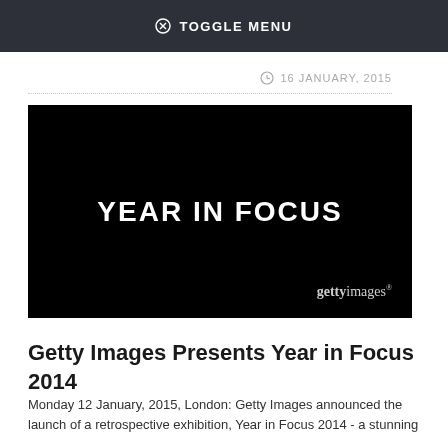TOGGLE MENU
16 JANUARY, 2015
[Figure (photo): Black background image with white bold text 'YEAR IN FOCUS' and 'gettyimages' logo in bottom right]
Getty Images Presents Year in Focus 2014
Monday 12 January, 2015, London: Getty Images announced the launch of a retrospective exhibition, Year in Focus 2014 - a stunning